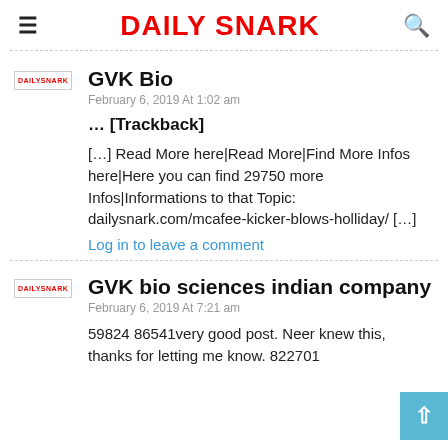DAILY SNARK
GVK Bio
February 6, 2019 At 1:02 am
… [Trackback]
[…] Read More here|Read More|Find More Infos here|Here you can find 29750 more Infos|Informations to that Topic: dailysnark.com/mcafee-kicker-blows-holliday/ […]
Log in to leave a comment
GVK bio sciences indian company
February 6, 2019 At 7:21 am
59824 86541very good post. Neer knew this, thanks for letting me know. 822701